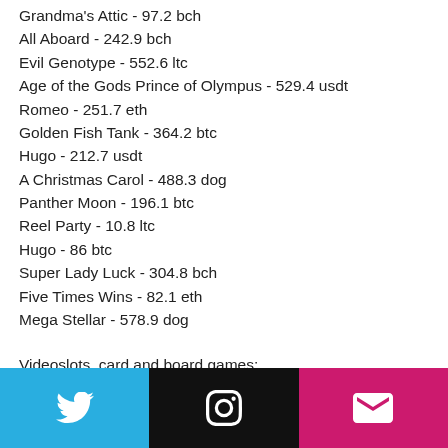Grandma's Attic - 97.2 bch
All Aboard - 242.9 bch
Evil Genotype - 552.6 ltc
Age of the Gods Prince of Olympus - 529.4 usdt
Romeo - 251.7 eth
Golden Fish Tank - 364.2 btc
Hugo - 212.7 usdt
A Christmas Carol - 488.3 dog
Panther Moon - 196.1 btc
Reel Party - 10.8 ltc
Hugo - 86 btc
Super Lady Luck - 304.8 bch
Five Times Wins - 82.1 eth
Mega Stellar - 578.9 dog
Videoslots, card and board games:
Sportsbet.io Illusions 2
Cloudbet Casino Legend of Qu Yuan